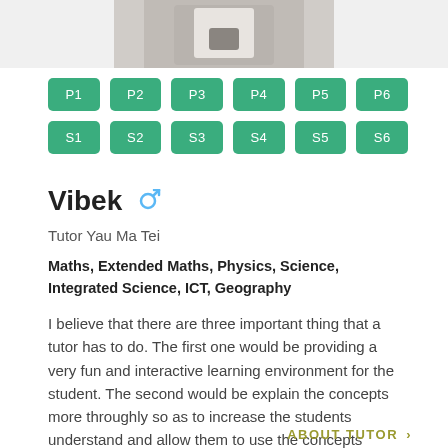[Figure (photo): Partial photo of a person in white shirt holding a phone, cropped at top of page]
P1 P2 P3 P4 P5 P6 S1 S2 S3 S4 S5 S6 (grade level buttons)
Vibek
Tutor Yau Ma Tei
Maths, Extended Maths, Physics, Science, Integrated Science, ICT, Geography
I believe that there are three important thing that a tutor has to do. The first one would be providing a very fun and interactive learning environment for the student. The second would be explain the concepts more throughly so as to increase the students understand and allow them to use the concepts further down their academic career/life. The...
ABOUT TUTOR ›